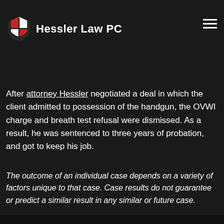Hessler Law PC
mar he refused to take a breath test – if proven to be – would trigger an automatic one-year suspension – were convicted of OVWI as well, he could his job and livelihood.
After attorney Hessler negotiated a deal in which the client admitted to possession of the handgun, the OVWI charge and breath test refusal were dismissed. As a result, he was sentenced to three years of probation, and got to keep his job.
The outcome of an individual case depends on a variety of factors unique to that case. Case results do not guarantee or predict a similar result in any similar or future case.